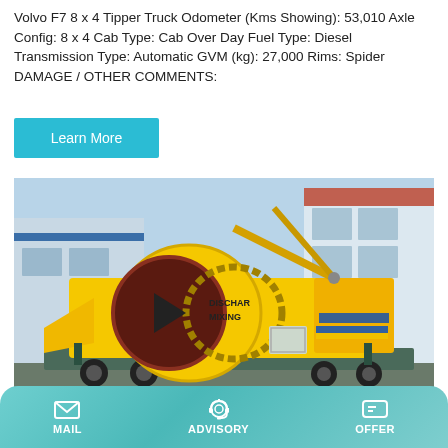Volvo F7 8 x 4 Tipper Truck Odometer (Kms Showing): 53,010 Axle Config: 8 x 4 Cab Type: Cab Over Day Fuel Type: Diesel Transmission Type: Automatic GVM (kg): 27,000 Rims: Spider DAMAGE / OTHER COMMENTS:
Learn More
[Figure (photo): Yellow concrete mixer / pump machine (labelled DISCHAR MIXING) on a flatbed trailer, parked outside a building with tiled roof. Industrial equipment in bright yellow color.]
MAIL   ADVISORY   OFFER